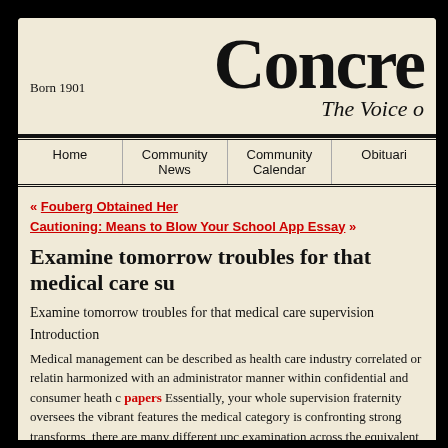Concre
Born 1901
The Voice o
Home | Community News | Community Calendar | Obituari
« Fouberg Obtained Her
Cautioning: Means to Blow Your School App Essay »
Examine tomorrow troubles for that medical care su
Examine tomorrow troubles for that medical care supervision
Introduction
Medical management can be described as health care industry correlated or relatin harmonized with an administrator manner within confidential and consumer heath c papers Essentially, your whole supervision fraternity oversees the vibrant features the medical category is confronting strong transforms, there are many different upc examination across the equivalent in order to keep it feasible. But, listed here are th the range from; Market advisable change Maturing population. The fact is, it can be population, yet still also show the need for this area and using it